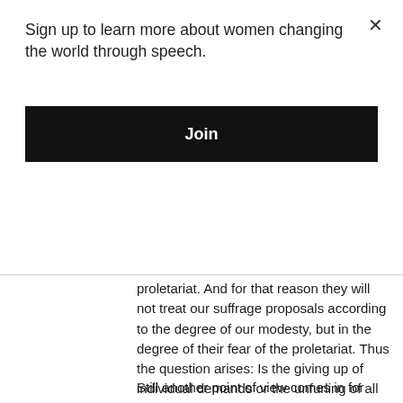Sign up to learn more about women changing the world through speech.
Join
proletariat. And for that reason they will not treat our suffrage proposals according to the degree of our modesty, but in the degree of their fear of the proletariat. Thus the question arises: Is the giving up of individual demands or the unfurling of all our demands the best means of increasing our power? The answer, in my opinion, falls in favour of formulating and fighting for our full suffrage programme. We must raise our demands on the widest possible basis to set the masses in motion, and the demand for Woman Suffrage is calculated to widen the basis of our field of battle and bring us new and large masses of the disinherited as fellow fighters.
Still another point of view comes in for